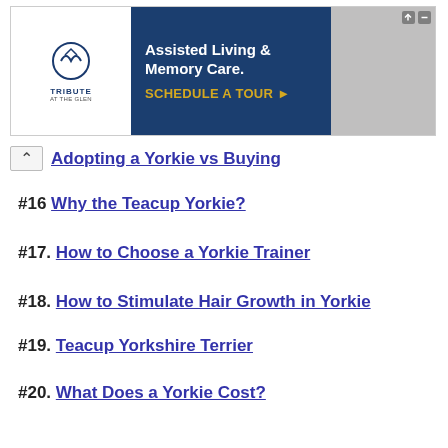[Figure (other): Advertisement banner for Tribute at the Glen: Assisted Living & Memory Care. Schedule a Tour.]
Adopting a Yorkie vs Buying
#16 Why the Teacup Yorkie?
#17. How to Choose a Yorkie Trainer
#18. How to Stimulate Hair Growth in Yorkie
#19. Teacup Yorkshire Terrier
#20. What Does a Yorkie Cost?
Yorkie and Yorkshire Terrier Mix Puppies for Sale, Adoption, and Rescue